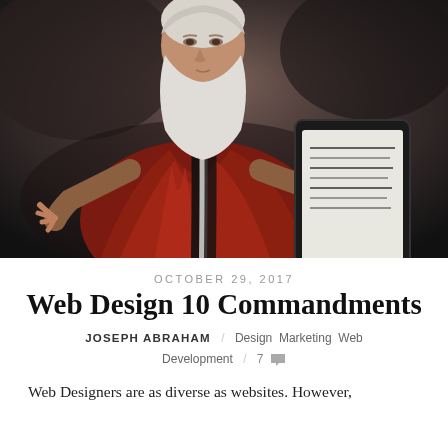[Figure (illustration): Painting of a Moses-like figure with white beard and red robe holding a tablet/iPad device displaying text, set against a dark stormy background.]
OCTOBER 29, 2017
Web Design 10 Commandments
JOSEPH ABRAHAM / Design Marketing Web Development / 7 comments
Web Designers are as diverse as websites. However,